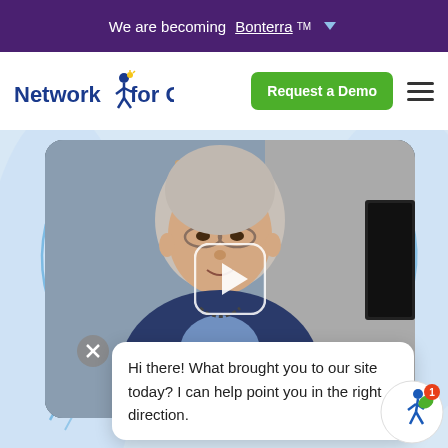We are becoming Bonterra™ ▾
[Figure (logo): Network for Good logo with a running figure icon]
[Figure (other): Green 'Request a Demo' button and hamburger menu icon]
[Figure (photo): Screenshot of a website hero section showing an elderly woman in a video thumbnail with a play button overlay, decorative blue blob shapes, a chat popup saying 'Hi there! What brought you to our site today? I can help point you in the right direction.', a close (X) button, and a Network for Good chat widget icon in the bottom right corner.]